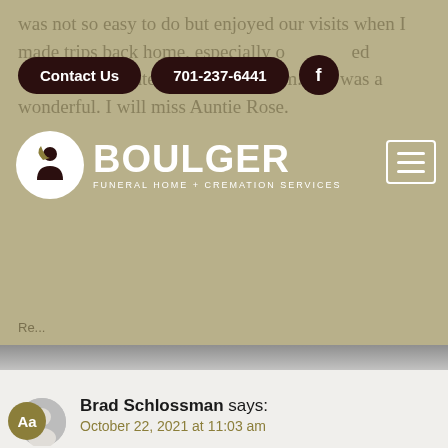[Figure (screenshot): Top portion of a funeral home website (Boulger Funeral Home + Cremation Services) showing navigation bar with Contact Us button, phone number 701-237-6441, Facebook icon, the Boulger logo, and a hamburger menu. Background shows faded testimonial text about Auntie Rose.]
Brad Schlossman says:
October 22, 2021 at 11:03 am
To Rose’s family,

Yes, there are a few of us still at West Acres who were here during Rose’s years of service at the mall, including me. We are all saddened to learn of her passing. She was good at her job and the regular customers became her friends. We are grateful that she set a high standard for good service. She will